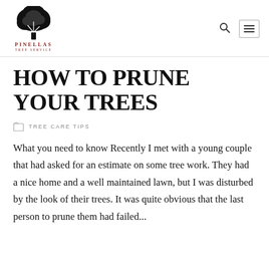PINELLAS TREE SERVICE
HOW TO PRUNE YOUR TREES
TREE CARE TIPS
What you need to know Recently I met with a young couple that had asked for an estimate on some tree work. They had a nice home and a well maintained lawn, but I was disturbed by the look of their trees. It was quite obvious that the last person to prune them had failed...